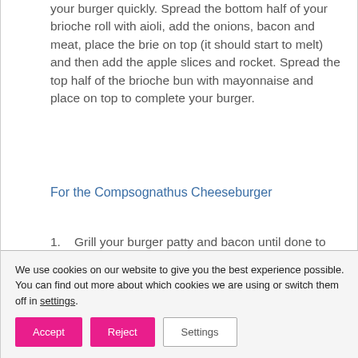your burger quickly. Spread the bottom half of your brioche roll with aioli, add the onions, bacon and meat, place the brie on top (it should start to melt) and then add the apple slices and rocket. Spread the top half of the brioche bun with mayonnaise and place on top to complete your burger.
For the Compsognathus Cheeseburger
1. Grill your burger patty and bacon until done to your liking. After turning your patty for the last time, place a slice...
We use cookies on our website to give you the best experience possible.
You can find out more about which cookies we are using or switch them off in settings.